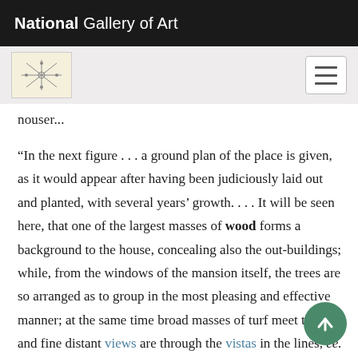National Gallery of Art
[Figure (logo): National Gallery of Art decorative logo/seal in beige box, and hamburger menu button]
nouser...
“In the next figure . . . a ground plan of the place is given, as it would appear after having been judiciously laid out and planted, with several years’ growth. . . . It will be seen here, that one of the largest masses of wood forms a background to the house, concealing also the out-buildings; while, from the windows of the mansion itself, the trees are so arranged as to group in the most pleasing and effective manner; at the same time broad masses of turf meet the eye, and fine distant views are through the vistas in the lines, ee. . . . The form of